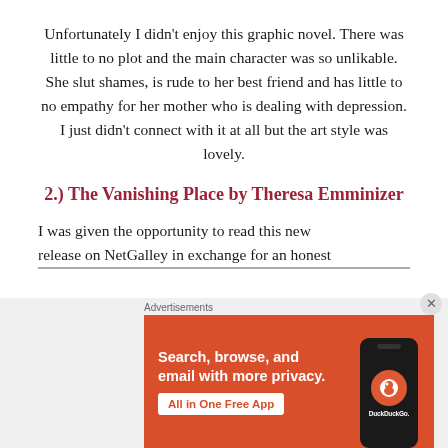Unfortunately I didn't enjoy this graphic novel. There was little to no plot and the main character was so unlikable. She slut shames, is rude to her best friend and has little to no empathy for her mother who is dealing with depression. I just didn't connect with it at all but the art style was lovely.
2.) The Vanishing Place by Theresa Emminizer
I was given the opportunity to read this new release on NetGalley in exchange for an honest
[Figure (screenshot): DuckDuckGo advertisement banner on an orange background with text 'Search, browse, and email with more privacy. All in One Free App' and a phone graphic with DuckDuckGo logo.]